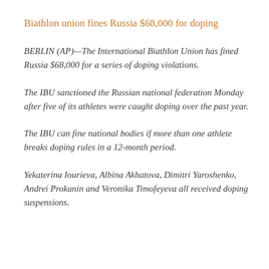Biathlon union fines Russia $68,000 for doping
BERLIN (AP)—The International Biathlon Union has fined Russia $68,000 for a series of doping violations.
The IBU sanctioned the Russian national federation Monday after five of its athletes were caught doping over the past year.
The IBU can fine national bodies if more than one athlete breaks doping rules in a 12-month period.
Yekaterina Iourieva, Albina Akhatova, Dimitri Yaroshenko, Andrei Prokunin and Veronika Timofeyeva all received doping suspensions.